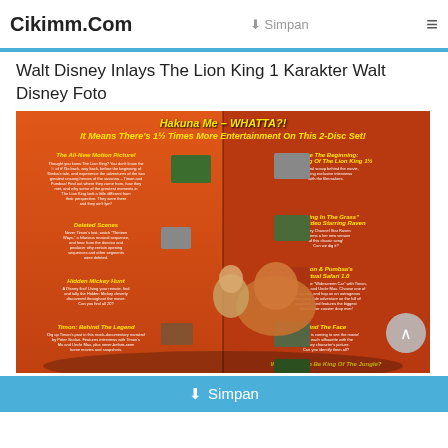Cikimm.Com | Simpan | ☰
Walt Disney Inlays The Lion King 1 Karakter Walt Disney Foto
[Figure (photo): Promotional DVD cover/insert for The Lion King 1½ (also known as 'Hakuna Me – WHATTA?! It Means There's 1½ Times More Entertainment On This 2-Disc Set!') showing Timon and Pumbaa characters with various bonus features described including: The All-New Motion Picture, Deleted Scenes, Hidden Mickey Hunt, Timon: Behind The Legend, Before The Beginning: The Making of The Lion King 1½, Grazing in the Grass Music Video Starring Raven, Timon & Pumbaa's Virtual Safari 1.0, Find The Face, Who Wants To Be King Of The Jungle?]
⬇ Simpan